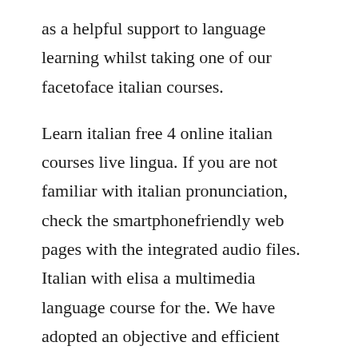as a helpful support to language learning whilst taking one of our facetoface italian courses.
Learn italian free 4 online italian courses live lingua. If you are not familiar with italian pronunciation, check the smartphonefriendly web pages with the integrated audio files. Italian with elisa a multimedia language course for the. We have adopted an objective and efficient approach to learn how to speak a language easily and quickly. The free live lingua italian courses are here to make